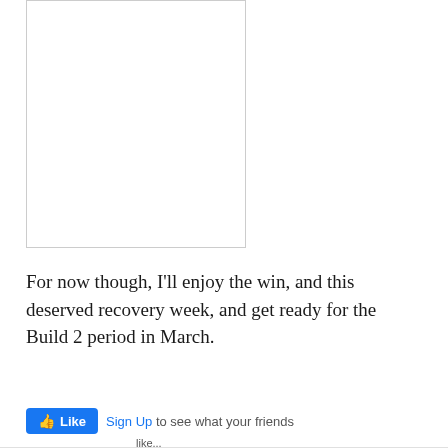[Figure (other): White rectangular image placeholder with thin gray border]
For now though, I'll enjoy the win, and this deserved recovery week, and get ready for the Build 2 period in March.
Like Sign Up to see what your friends like...